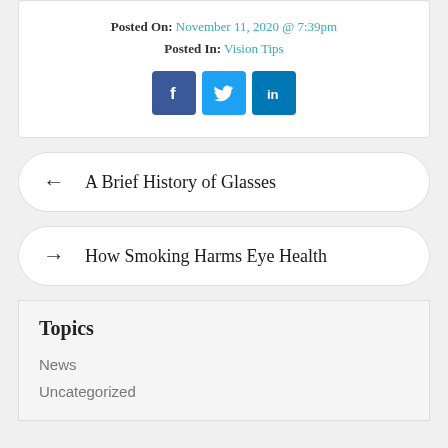Posted On: November 11, 2020 @ 7:39pm
Posted In: Vision Tips
[Figure (infographic): Social media share buttons: Facebook (f), Twitter (bird), LinkedIn (in)]
← A Brief History of Glasses
→ How Smoking Harms Eye Health
Topics
News
Uncategorized